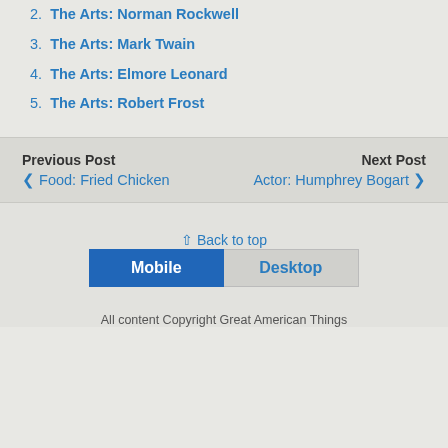2. The Arts: Norman Rockwell
3. The Arts: Mark Twain
4. The Arts: Elmore Leonard
5. The Arts: Robert Frost
Previous Post
< Food: Fried Chicken
Next Post
Actor: Humphrey Bogart >
⇧ Back to top
Mobile | Desktop
All content Copyright Great American Things